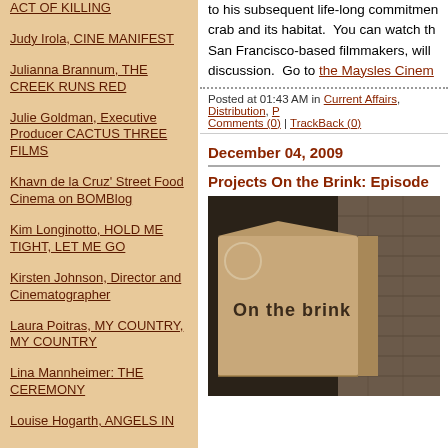ACT OF KILLING
Judy Irola, CINE MANIFEST
Julianna Brannum, THE CREEK RUNS RED
Julie Goldman, Executive Producer CACTUS THREE FILMS
Khavn de la Cruz' Street Food Cinema on BOMBlog
Kim Longinotto, HOLD ME TIGHT, LET ME GO
Kirsten Johnson, Director and Cinematographer
Laura Poitras, MY COUNTRY, MY COUNTRY
Lina Mannheimer: THE CEREMONY
Louise Hogarth, ANGELS IN
to his subsequent life-long commitmen... crab and its habitat. You can watch th... San Francisco-based filmmakers, will ... discussion. Go to the Maysles Cinem...
Posted at 01:43 AM in Current Affairs, Distribution, ... Comments (0) | TrackBack (0)
December 04, 2009
Projects On the Brink: Episode
[Figure (photo): A cardboard box with text 'On the brink' written on it, against a dark background with brick wall visible]